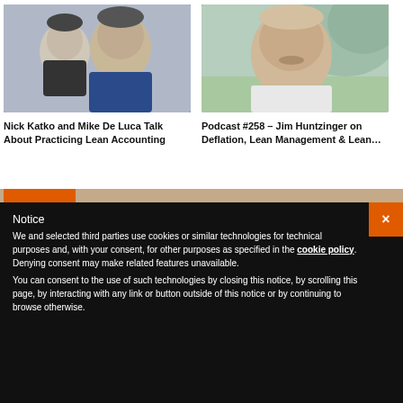[Figure (photo): Two men headshot photo on the left card, with orange bar at top and podcast badge icon]
Nick Katko and Mike De Luca Talk About Practicing Lean Accounting
[Figure (photo): Man headshot photo on the right card with orange bar at top]
Podcast #258 – Jim Huntzinger on Deflation, Lean Management & Lean…
Notice
We and selected third parties use cookies or similar technologies for technical purposes and, with your consent, for other purposes as specified in the cookie policy. Denying consent may make related features unavailable.
You can consent to the use of such technologies by closing this notice, by scrolling this page, by interacting with any link or button outside of this notice or by continuing to browse otherwise.